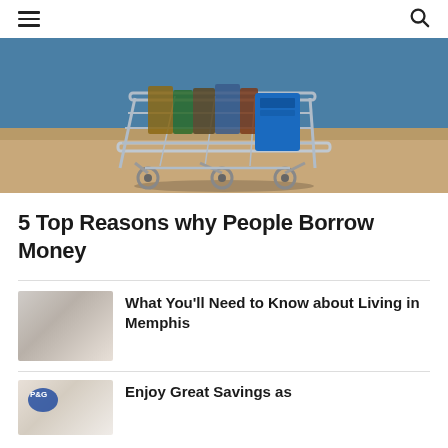Navigation header with hamburger menu and search icon
[Figure (photo): A miniature shopping cart filled with grocery items including a blue container, photographed on a wooden surface against a blue wall background]
5 Top Reasons why People Borrow Money
What You'll Need to Know about Living in Memphis
Enjoy Great Savings as